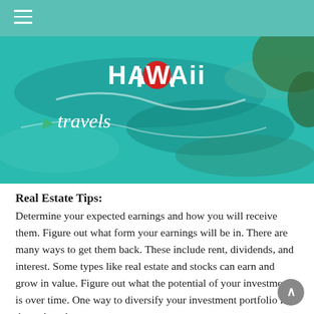[Figure (photo): Aerial photo of Hawaii coastline with turquoise water showing 'HAWAII travels' text overlay with green leaf logo]
Real Estate Tips:
Determine your expected earnings and how you will receive them. Figure out what form your earnings will be in. There are many ways to get them back. These include rent, dividends, and interest. Some types like real estate and stocks can earn and grow in value. Figure out what the potential of your investment is over time. One way to diversify your investment portfolio is through real